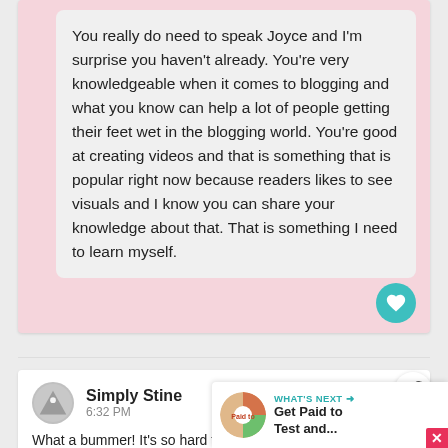You really do need to speak Joyce and I'm surprise you haven't already. You're very knowledgeable when it comes to blogging and what you know can help a lot of people getting their feet wet in the blogging world. You're good at creating videos and that is something that is popular right now because readers likes to see visuals and I know you can share your knowledge about that. That is something I need to learn myself.
Simply Stine
6:32 PM
What a bummer! It's so hard to know when a blogging conference will be good or not, especially when they